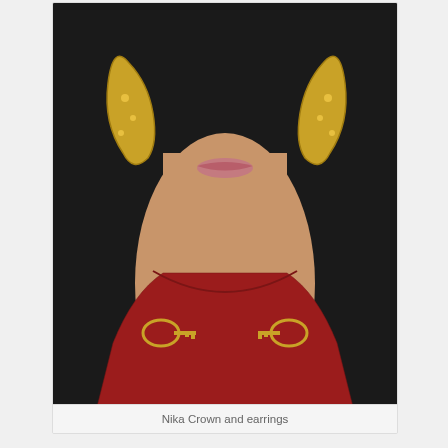[Figure (photo): Woman wearing large ornate gold earrings and a red embroidered garment with gold key decorations, photographed against a dark background, face partially visible showing neck and lower face]
Nika Crown and earrings
Nika is a symbol of the goddess of victory. This gorgeous crown fits strong woman who always wins – bright and saturated. Decorated with Swarovski crystals and high-quality American accessories. Made in the Dolce & Gabbana style.
[Figure (photo): Close-up of ornate gold crown/brooch jewelry piece on dark background]